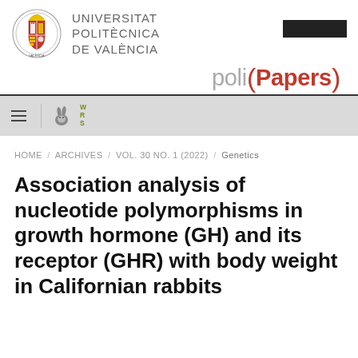[Figure (logo): Universitat Politècnica de València logo with university seal and name]
[Figure (logo): poliPapers logo with red brackets]
WRS navigation bar with hamburger menu and rabbit icon
HOME / ARCHIVES / VOL. 30 NO. 1 (2022) / Genetics
Association analysis of nucleotide polymorphisms in growth hormone (GH) and its receptor (GHR) with body weight in Californian rabbits